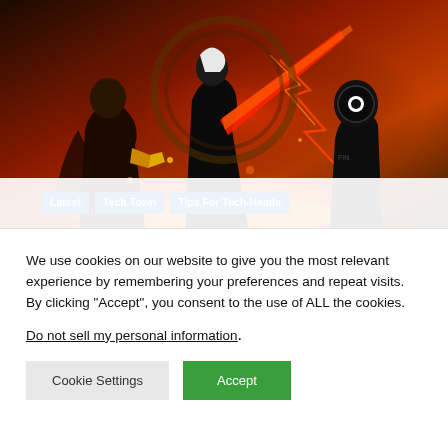[Figure (illustration): Colorful action game artwork showing armed characters in battle, stylized comic/anime art style with fire and lightning effects. A Fortnite-style gaming banner image.]
Top 7 best shooting games like Free Fire in 2021 – Geekymint
We use cookies on our website to give you the most relevant experience by remembering your preferences and repeat visits. By clicking “Accept”, you consent to the use of ALL the cookies.
Do not sell my personal information.